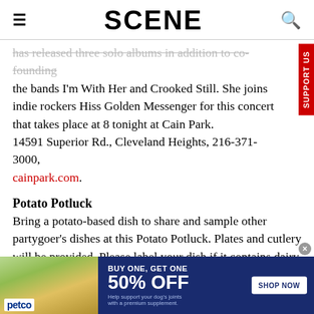SCENE
has released three solo albums in addition to co-founding the bands I'm With Her and Crooked Still. She joins indie rockers Hiss Golden Messenger for this concert that takes place at 8 tonight at Cain Park. 14591 Superior Rd., Cleveland Heights, 216-371-3000, cainpark.com.
Potato Potluck
Bring a potato-based dish to share and sample other partygoer's dishes at this Potato Potluck. Plates and cutlery will be provided. Please label your dish if it contains dairy, gluten or other allergens. The event takes place at 7 tonight
[Figure (infographic): Petco advertisement: BUY ONE, GET ONE 50% OFF. Help support your dog's joints with a premium supplement. SHOP NOW button. Shows woman with golden retriever and supplement product.]